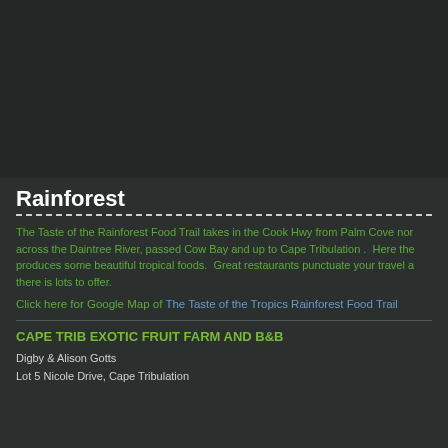[Figure (photo): Dark image area at top of page, likely a photograph of rainforest or tropical scenery.]
Rainforest
The Taste of the Rainforest Food Trail takes in the Cook Hwy from Palm Cove north, across the Daintree River, passed Cow Bay and up to Cape Tribulation .  Here the produces some beautiful tropical foods.  Great restaurants punctuate your travel a there is lots to offer.
Click here for Google Map of The Taste of the Tropics Rainforest Food Trail
CAPE TRIB EXOTIC FRUIT FARM AND B&B
Digby & Alison Gotts
Lot 5 Nicole Drive, Cape Tribulation